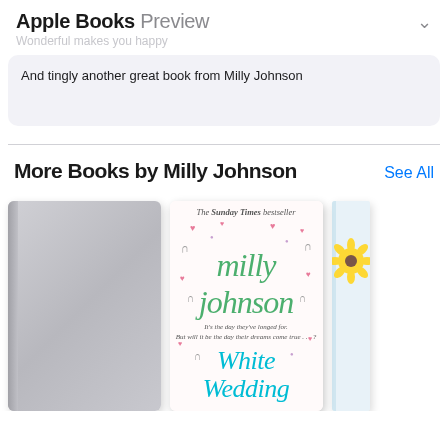Apple Books Preview
Wonderful makes you happy
And tingly another great book from Milly Johnson
More Books by Milly Johnson
See All
[Figure (photo): Three book covers in a horizontal row: a blank gray book cover, the White Wedding book by Milly Johnson (The Sunday Times bestseller), and a partially visible third book with sunflower.]